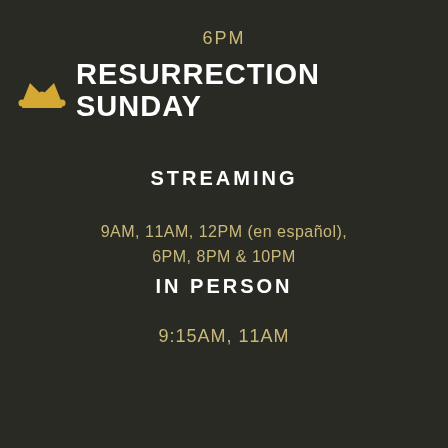6PM
RESURRECTION SUNDAY
STREAMING
9AM, 11AM, 12PM (en español), 6PM, 8PM & 10PM
IN PERSON
9:15AM, 11AM